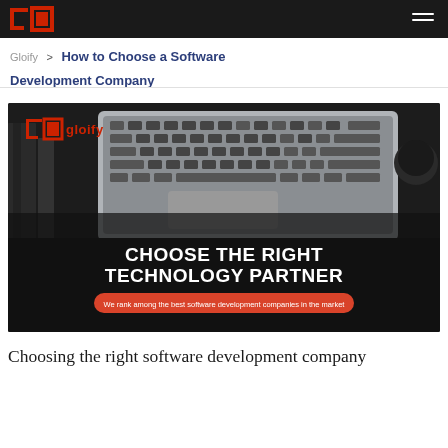Gloify > How to Choose a Software Development Company
[Figure (photo): Dark background hero image with a laptop keyboard visible at top, Gloify logo in red at upper left, large white bold text reading 'CHOOSE THE RIGHT TECHNOLOGY PARTNER', and a red pill-shaped badge saying 'We rank among the best software development companies in the market']
Choosing the right software development company